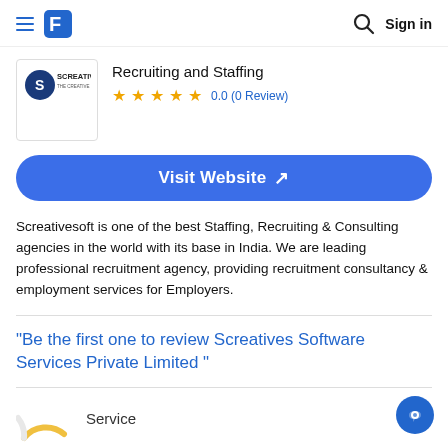Sign in
[Figure (logo): Screatives company logo - circular blue icon with S, text SCREATIVES THE CREATIVE STAFFING COMPANY]
Recruiting and Staffing
0.0 (0 Review)
Visit Website ↗
Screativesoft is one of the best Staffing, Recruiting & Consulting agencies in the world with its base in India. We are leading professional recruitment agency, providing recruitment consultancy & employment services for Employers.
"Be the first one to review Screatives Software Services Private Limited "
Service